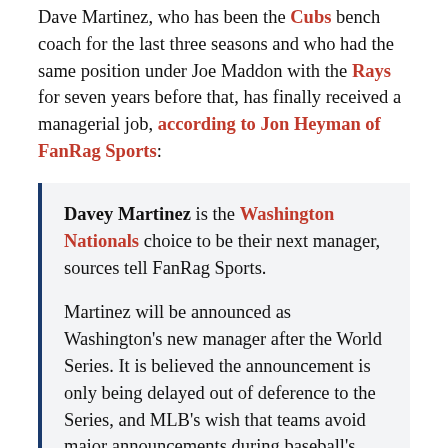Dave Martinez, who has been the Cubs bench coach for the last three seasons and who had the same position under Joe Maddon with the Rays for seven years before that, has finally received a managerial job, according to Jon Heyman of FanRag Sports:
Davey Martinez is the Washington Nationals choice to be their next manager, sources tell FanRag Sports.

Martinez will be announced as Washington's new manager after the World Series. It is believed the announcement is only being delayed out of deference to the Series, and MLB's wish that teams avoid major announcements during baseball's showcase.
Martinez had interviewed for managing jobs with at